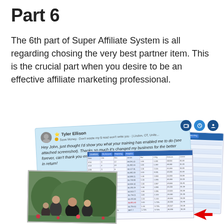Part 6
The 6th part of Super Affiliate System is all regarding chosing the very best partner item. This is the crucial part when you desire to be an effective affiliate marketing professional.
[Figure (screenshot): Collage of screenshots: a testimonial message from Tyler Ellison praising John's training ('Hey John, just thought I'd show you what your training has enabled me to do (see attached screenshot). Thanks so much it's changed my business for the better forever, can't thank you enough. Just lemme know if there's ever anything I can do in return!'), a photo of a group of people outdoors, and a spreadsheet with earnings data. Icons visible in top right of testimonial card.]